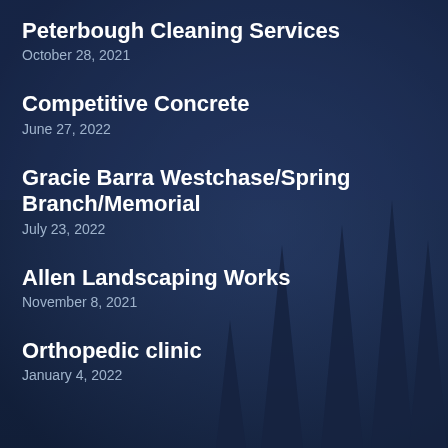Peterbough Cleaning Services
October 28, 2021
Competitive Concrete
June 27, 2022
Gracie Barra Westchase/Spring Branch/Memorial
July 23, 2022
Allen Landscaping Works
November 8, 2021
Orthopedic clinic
January 4, 2022